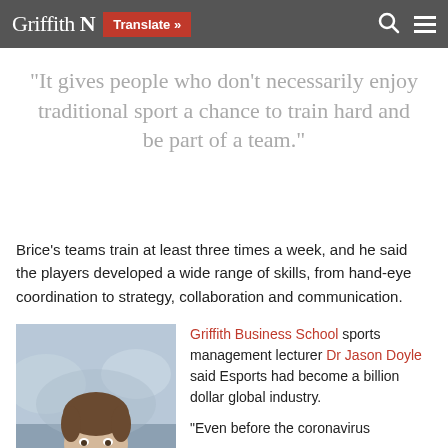Griffith N | Translate » | [search] [menu]
“It gives people who don’t necessarily enjoy traditional sport a chance to train hard and be part of a team.”
Brice’s teams train at least three times a week, and he said the players developed a wide range of skills, from hand-eye coordination to strategy, collaboration and communication.
[Figure (photo): Headshot of a young man smiling outdoors, wearing a light-coloured shirt, with a blurred crowd background]
Griffith Business School sports management lecturer Dr Jason Doyle said Esports had become a billion dollar global industry.

“Even before the coronavirus had hit us, Esports was rising...